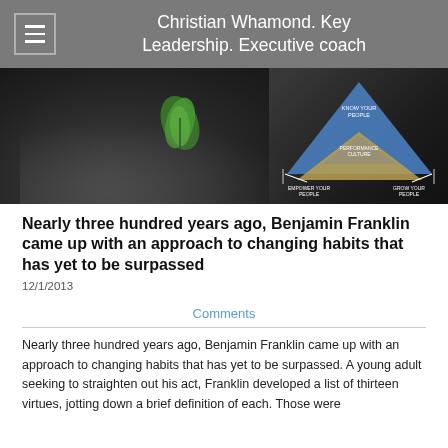Christian Whamond. Key Leadership. Executive coach
[Figure (illustration): Hero banner image showing black and white hands cradling a small green plant/seedling, with a blue and gold triangle leadership diagram overlay on the right side showing 'Know Your People', 'Performance Culture', 'Empower Your People', 'Grow Your People']
Nearly three hundred years ago, Benjamin Franklin came up with an approach to changing habits that has yet to be surpassed
12/1/2013
Comments
Nearly three hundred years ago, Benjamin Franklin came up with an approach to changing habits that has yet to be surpassed. A young adult seeking to straighten out his act, Franklin developed a list of thirteen virtues, jotting down a brief definition of each. Those were